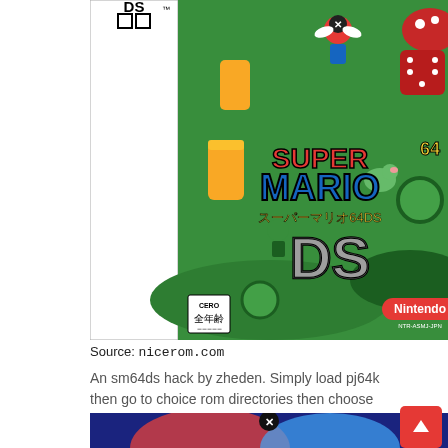[Figure (photo): Super Mario 64 DS Nintendo DS game box cover (Japanese version). Shows Nintendo DS logo on spine, game characters on a green grassy field background, title logo 'SUPER MARIO 64 DS' in colorful letters, CERO rating and Nintendo logo at bottom.]
Source: nicerom.com
An sm64ds hack by zheden. Simply load pj64k then go to choice rom directories then choose the location of the super mario 64 kaillera multiplayer rom hack refresh your rom list.
[Figure (screenshot): Bottom portion of another game image with blue background, partially visible.]